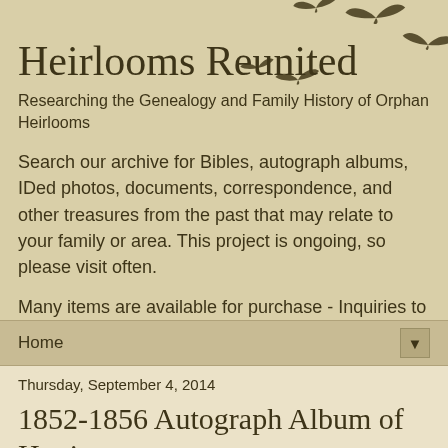[Figure (illustration): Silhouettes of birds in flight arranged in a diagonal pattern in the upper right area of the header]
Heirlooms Reunited
Researching the Genealogy and Family History of Orphan Heirlooms
Search our archive for Bibles, autograph albums, IDed photos, documents, correspondence, and other treasures from the past that may relate to your family or area. This project is ongoing, so please visit often.
Many items are available for purchase - Inquiries to heirlooms(dot)reunited(at)gmail.com
Home ▼
Thursday, September 4, 2014
1852-1856 Autograph Album of Hattie,